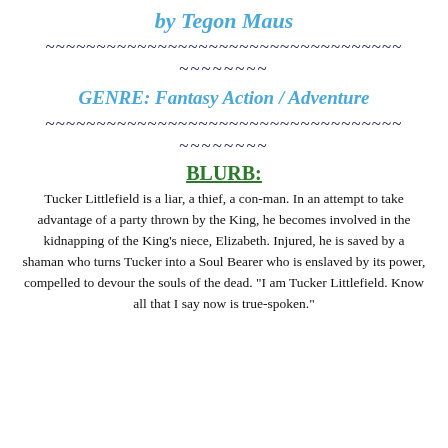by Tegon Maus
~~~~~~~~~~~~~~~~~~~~~~~~~~~~~~~~~~~
~~~~~~~~
GENRE: Fantasy Action / Adventure
~~~~~~~~~~~~~~~~~~~~~~~~~~~~~~~~~~~
~~~~~~~~
BLURB:
Tucker Littlefield is a liar, a thief, a con-man. In an attempt to take advantage of a party thrown by the King, he becomes involved in the kidnapping of the King's niece, Elizabeth. Injured, he is saved by a shaman who turns Tucker into a Soul Bearer who is enslaved by its power, compelled to devour the souls of the dead. "I am Tucker Littlefield. Know all that I say now is true-spoken."